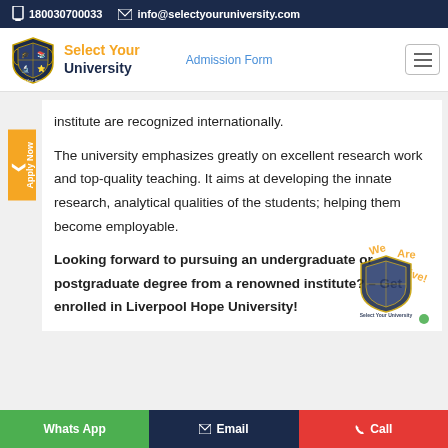180030700033   info@selectyouruniversity.com
[Figure (logo): Select Your University logo with shield emblem and orange/navy text]
Admission Form
institute are recognized internationally.
The university emphasizes greatly on excellent research work and top-quality teaching. It aims at developing the innate research, analytical qualities of the students; helping them become employable.
Looking forward to pursuing an undergraduate or postgraduate degree from a renowned institute? – Get enrolled in Liverpool Hope Univers…
Whats App   Email   Call